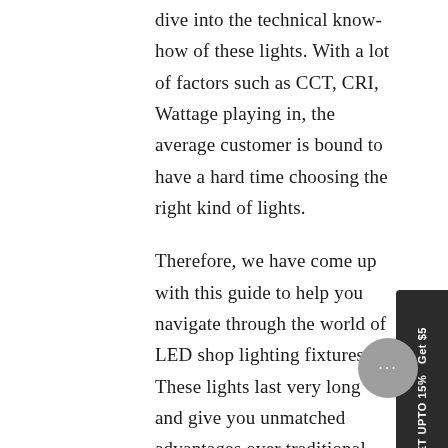dive into the technical know-how of these lights. With a lot of factors such as CCT, CRI, Wattage playing in, the average customer is bound to have a hard time choosing the right kind of lights.
Therefore, we have come up with this guide to help you navigate through the world of LED shop lighting fixtures. These lights last very long and give you unmatched advantages over traditional lights.
WHAT ARE LED SHOP LIGHTS?
Shop lights are lighting fixtures that illuminate and highlight the interiors of your shop or other similar places. The importance of these lights is derived from the fact that shops are places of business and lighting in such places cannot be